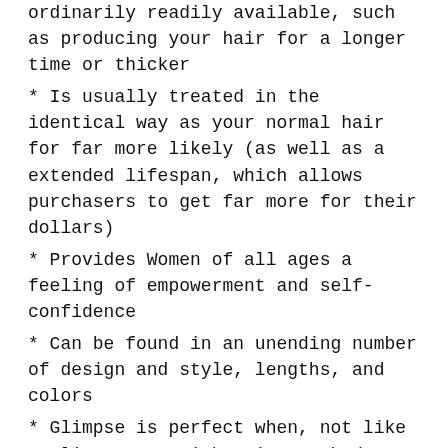ordinarily readily available, such as producing your hair for a longer time or thicker
Is usually treated in the identical way as your normal hair for far more likely (as well as a extended lifespan, which allows purchasers to get far more for their dollars)
Provides Women of all ages a feeling of empowerment and self-confidence
Can be found in an unending number of design and style, lengths, and colors
Glimpse is perfect when, not like curling or straightening methods which might or might not come out how you needed
Hair extensions are a favorite hair alteration approach with lots of crucial Gains. Bundle bargains are one method to preserve noticeably on top quality